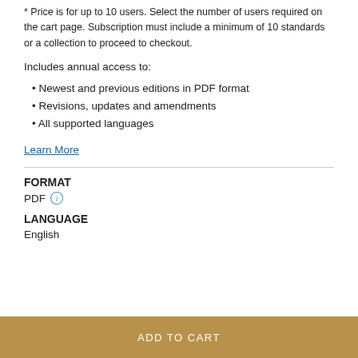* Price is for up to 10 users. Select the number of users required on the cart page. Subscription must include a minimum of 10 standards or a collection to proceed to checkout.
Includes annual access to:
Newest and previous editions in PDF format
Revisions, updates and amendments
All supported languages
Learn More
FORMAT
PDF
LANGUAGE
English
ADD TO CART